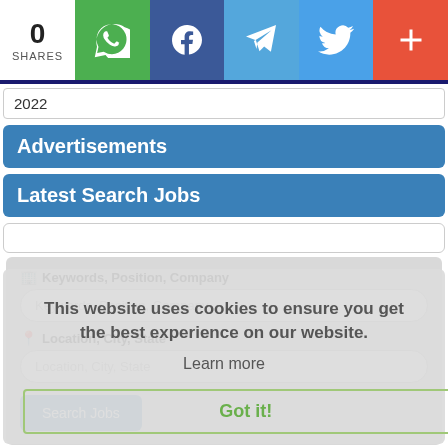0 SHARES — WhatsApp, Facebook, Telegram, Twitter, More
2022
Advertisements
Latest Search Jobs
Keywords, Position, Company — input field
Location, City, State — input field
This website uses cookies to ensure you get the best experience on our website. Learn more. Got it!